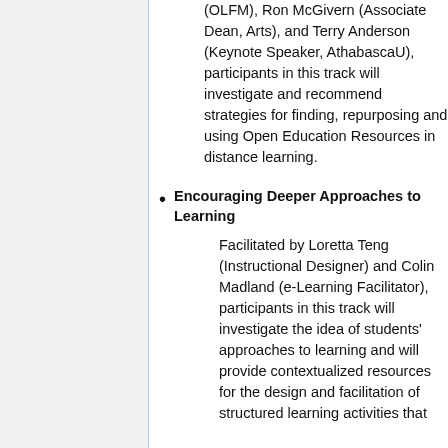(OLFM), Ron McGivern (Associate Dean, Arts), and Terry Anderson (Keynote Speaker, AthabascaU), participants in this track will investigate and recommend strategies for finding, repurposing and using Open Education Resources in distance learning.
Encouraging Deeper Approaches to Learning
Facilitated by Loretta Teng (Instructional Designer) and Colin Madland (e-Learning Facilitator), participants in this track will investigate the idea of students' approaches to learning and will provide contextualized resources for the design and facilitation of structured learning activities that